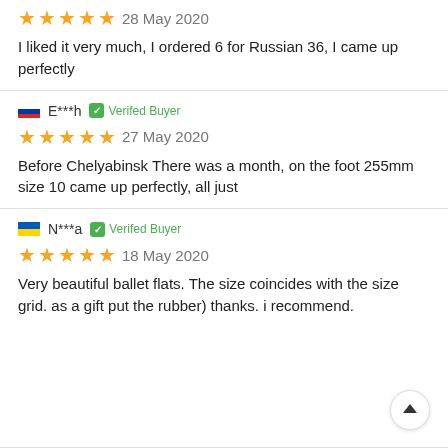I liked it very much, I ordered 6 for Russian 36, I came up perfectly
E***h  Verifed Buyer
27 May 2020
Before Chelyabinsk There was a month, on the foot 255mm size 10 came up perfectly, all just
N***a  Verifed Buyer
18 May 2020
Very beautiful ballet flats. The size coincides with the size grid. as a gift put the rubber) thanks. i recommend.